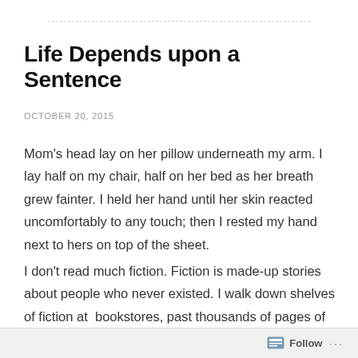Life Depends upon a Sentence
OCTOBER 20, 2015
Mom's head lay on her pillow underneath my arm. I lay half on my chair, half on her bed as her breath grew fainter. I held her hand until her skin reacted uncomfortably to any touch; then I rested my hand next to hers on top of the sheet.
I don't read much fiction. Fiction is made-up stories about people who never existed. I walk down shelves of fiction at  bookstores, past thousands of pages of things that never happened. Yes, some are written simply for
Follow ...